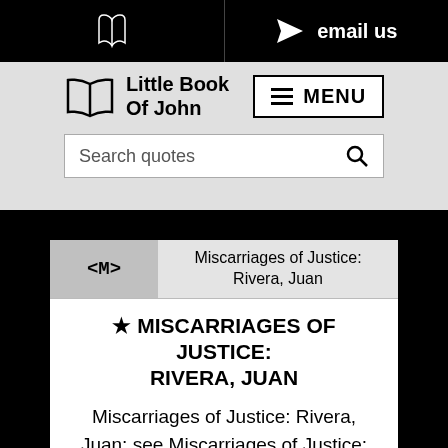[phone icon] | [arrow/email icon] email us
[Figure (logo): Open book icon with text 'Little Book Of John']
MENU
Search quotes
<M>  Miscarriages of Justice: Rivera, Juan
★ MISCARRIAGES OF JUSTICE: RIVERA, JUAN
Miscarriages of Justice: Rivera, Juan: see Miscarriages of Justice: Birmingham 6 etc. & Justice & Injustice & Law & Court & Innocence & Jury & Judgment & Civil Liberties &